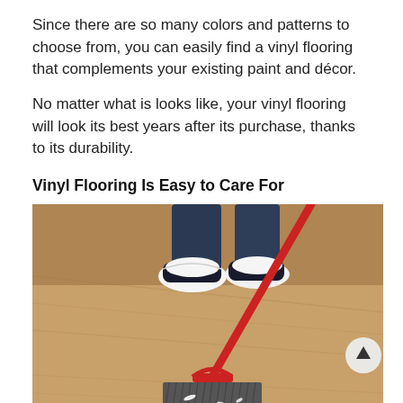Since there are so many colors and patterns to choose from, you can easily find a vinyl flooring that complements your existing paint and décor.
No matter what is looks like, your vinyl flooring will look its best years after its purchase, thanks to its durability.
Vinyl Flooring Is Easy to Care For
[Figure (photo): Person wearing sneakers sweeping a light wood-look vinyl floor with a red broom. White debris visible on the floor being swept up.]